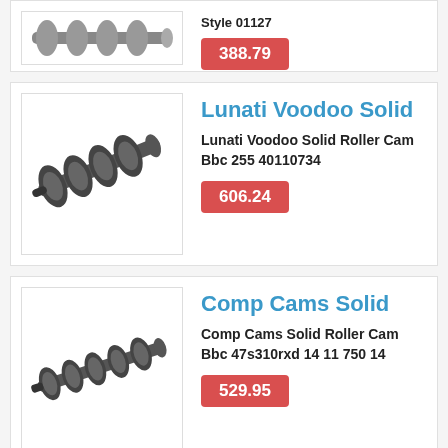[Figure (photo): Partial view of camshafts product image from previous listing, cropped at top]
Style 01127
388.79
[Figure (photo): Lunati Voodoo Solid Roller camshaft, black, diagonal view on white background]
Lunati Voodoo Solid
Lunati Voodoo Solid Roller Cam Bbc 255 40110734
606.24
[Figure (photo): Comp Cams Solid Roller camshaft, black, diagonal view on white background]
Comp Cams Solid
Comp Cams Solid Roller Cam Bbc 47s310rxd 14 11 750 14
529.95